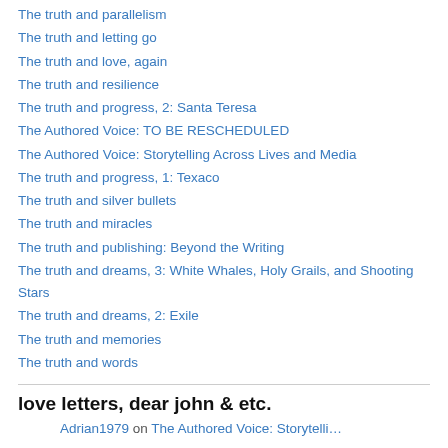The truth and parallelism
The truth and letting go
The truth and love, again
The truth and resilience
The truth and progress, 2: Santa Teresa
The Authored Voice: TO BE RESCHEDULED
The Authored Voice: Storytelling Across Lives and Media
The truth and progress, 1: Texaco
The truth and silver bullets
The truth and miracles
The truth and publishing: Beyond the Writing
The truth and dreams, 3: White Whales, Holy Grails, and Shooting Stars
The truth and dreams, 2: Exile
The truth and memories
The truth and words
love letters, dear john & etc.
Adrian1979 on The Authored Voice: Storytelli…